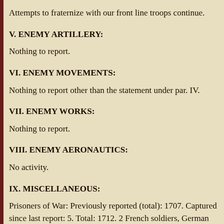Attempts to fraternize with our front line troops continue.
V. ENEMY ARTILLERY:
Nothing to report.
VI. ENEMY MOVEMENTS:
Nothing to report other than the statement under par. IV.
VII. ENEMY WORKS:
Nothing to report.
VIII. ENEMY AERONAUTICS:
No activity.
IX. MISCELLANEOUS:
Prisoners of War: Previously reported (total): 1707. Captured since last report: 5. Total: 1712. 2 French soldiers, German Prisoners of War, entered our lines this morning (Nov. 14th) at MOUZON.